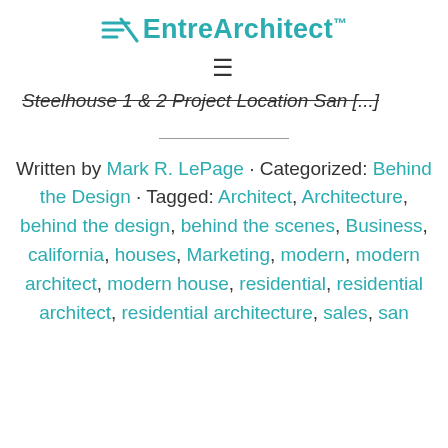EntreArchitect™
Steelhouse 1 & 2 Project Location San [...]
Written by Mark R. LePage · Categorized: Behind the Design · Tagged: Architect, Architecture, behind the design, behind the scenes, Business, california, houses, Marketing, modern, modern architect, modern house, residential, residential architect, residential architecture, sales, san